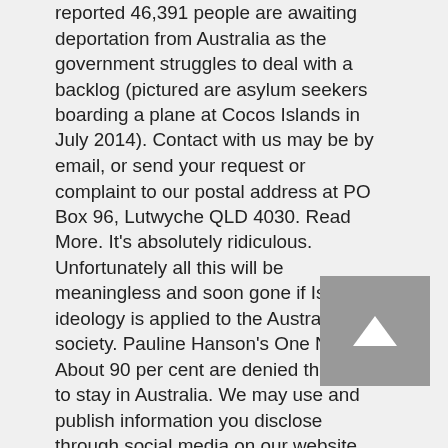reported 46,391 people are awaiting deportation from Australia as the government struggles to deal with a backlog (pictured are asylum seekers boarding a plane at Cocos Islands in July 2014). Contact with us may be by email, or send your request or complaint to our postal address at PO Box 96, Lutwyche QLD 4030. Read More. It's absolutely ridiculous. Unfortunately all this will be meaningless and soon gone if Islamic ideology is applied to the Australian society. Pauline Hanson's One Nation About 90 per cent are denied the right to stay in Australia. We may use and publish information you disclose through social media on our website. Part of the Daily Mail, The Mail on Sunday & Metro Media Group.